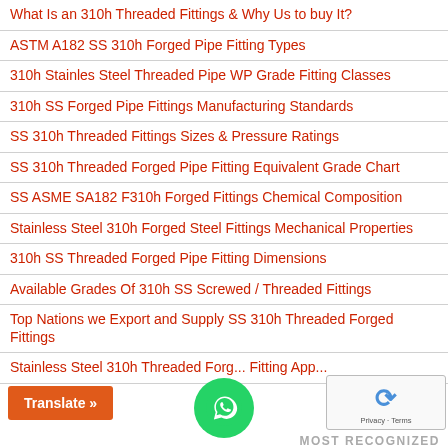What Is an 310h Threaded Fittings & Why Us to buy It?
ASTM A182 SS 310h Forged Pipe Fitting Types
310h Stainles Steel Threaded Pipe WP Grade Fitting Classes
310h SS Forged Pipe Fittings Manufacturing Standards
SS 310h Threaded Fittings Sizes & Pressure Ratings
SS 310h Threaded Forged Pipe Fitting Equivalent Grade Chart
SS ASME SA182 F310h Forged Fittings Chemical Composition
Stainless Steel 310h Forged Steel Fittings Mechanical Properties
310h SS Threaded Forged Pipe Fitting Dimensions
Available Grades Of 310h SS Screwed / Threaded Fittings
Top Nations we Export and Supply SS 310h Threaded Forged Fittings
Stainless Steel 310h Threaded Forged Fitting App...